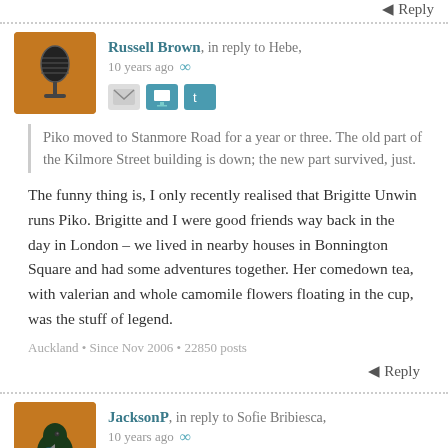Reply
Russell Brown, in reply to Hebe,
10 years ago ∞
Piko moved to Stanmore Road for a year or three. The old part of the Kilmore Street building is down; the new part survived, just.
The funny thing is, I only recently realised that Brigitte Unwin runs Piko. Brigitte and I were good friends way back in the day in London – we lived in nearby houses in Bonnington Square and had some adventures together. Her comedown tea, with valerian and whole camomile flowers floating in the cup, was the stuff of legend.
Auckland • Since Nov 2006 • 22850 posts
Reply
JacksonP, in reply to Sofie Bribiesca,
10 years ago ∞